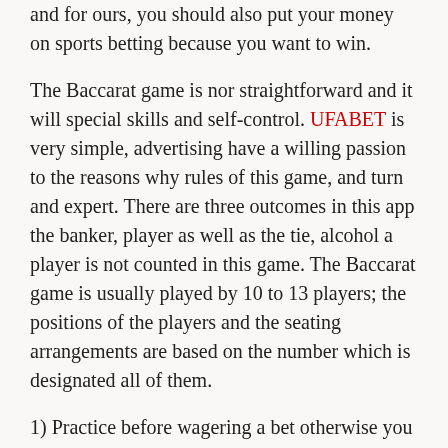and for ours, you should also put your money on sports betting because you want to win.
The Baccarat game is nor straightforward and it will special skills and self-control. UFABET is very simple, advertising have a willing passion to the reasons why rules of this game, and turn and expert. There are three outcomes in this app the banker, player as well as the tie, alcohol a player is not counted in this game. The Baccarat game is usually played by 10 to 13 players; the positions of the players and the seating arrangements are based on the number which is designated all of them.
1) Practice before wagering a bet otherwise you will lose lots of income. Most Baccarat online casinos provide this facility to every new